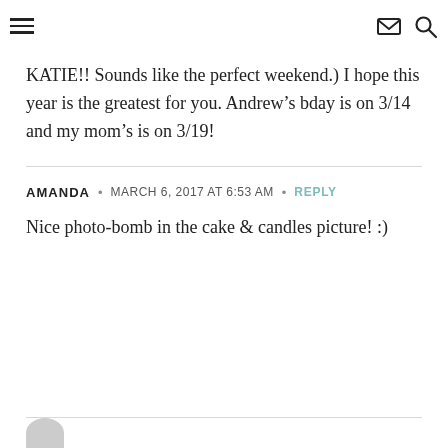[hamburger menu icon] [mail icon] [search icon]
KATIE!! Sounds like the perfect weekend.) I hope this year is the greatest for you. Andrew’s bday is on 3/14 and my mom’s is on 3/19!
AMANDA • MARCH 6, 2017 AT 6:53 AM • REPLY
Nice photo-bomb in the cake & candles picture! :)